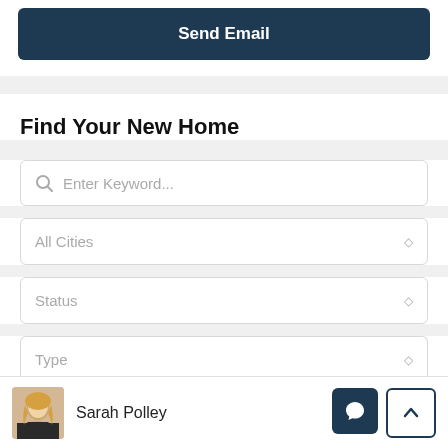Send Email
Find Your New Home
Enter Keyword...
All Cities
Status
Type
Sarah Polley